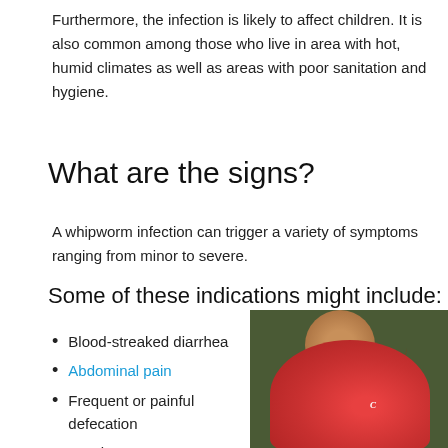Furthermore, the infection is likely to affect children. It is also common among those who live in area with hot, humid climates as well as areas with poor sanitation and hygiene.
What are the signs?
A whipworm infection can trigger a variety of symptoms ranging from minor to severe.
Some of these indications might include:
Blood-streaked diarrhea
Abdominal pain
Frequent or painful defecation
Headache
Nausea
[Figure (photo): A smiling person wearing a red Champion brand sleeveless shirt]